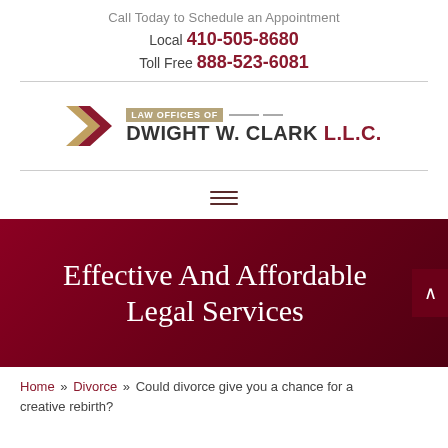Call Today to Schedule an Appointment
Local 410-505-8680
Toll Free 888-523-6081
[Figure (logo): Law Offices of Dwight W. Clark L.L.C. logo with chevron/arrow mark in dark red and gold]
[Figure (other): Hamburger menu icon (three horizontal lines)]
Effective And Affordable Legal Services
Home » Divorce » Could divorce give you a chance for a creative rebirth?